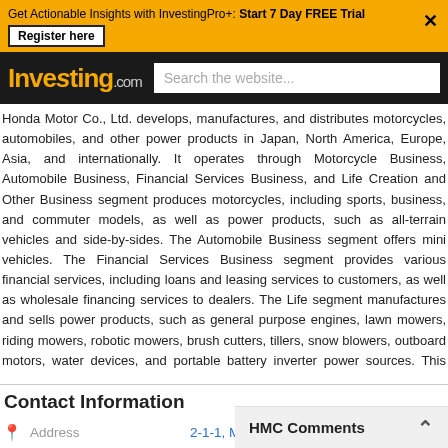Get Actionable Insights with InvestingPro+: Start 7 Day FREE Trial — Register here
[Figure (logo): Investing.com logo with orange 'Investing' text and search bar]
Honda Motor Co., Ltd. develops, manufactures, and distributes motorcycles, automobiles, and other power products in Japan, North America, Europe, Asia, and internationally. It operates through Motorcycle Business, Automobile Business, Financial Services Business, and Life Creation and Other Businesses segments. Business segment produces motorcycles, including sports, business, and commuter models, as well as power products, such as all-terrain vehicles and side-by-sides. The Automobile Business segment offers passenger cars and mini vehicles. The Financial Services Business segment provides various financial services, including loans and leasing services to customers, as well as wholesale financing services to dealers. The Life Creation and Other Businesses segment manufactures and sells power products, such as general purpose engines, lawn mowers, riding mowers, robotic mowers, brush cutters, tillers, snow blowers, outboard motors, water pumping devices, and portable battery inverter power sources. This segment also offers Honda genuine accessories and spare parts; and provides after-sale services through retail dealers directly, as well as through distributors and licensees. Honda Motor Co., Ltd. was founded in 1946 and is headquartered in Tokyo, Japan.
Contact Information
Address — 2-1-1, Minami-Aoyama Minato-ku
HMC Comments